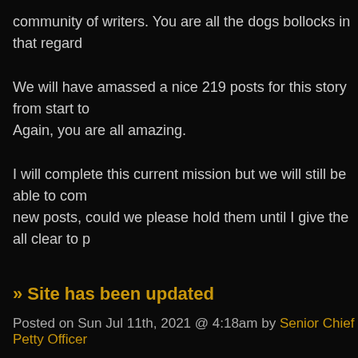community of writers. You are all the dogs bollocks in that regard
We will have amassed a nice 219 posts for this story from start to... Again, you are all amazing.
I will complete this current mission but we will still be able to com... new posts, could we please hold them until I give the all clear to p
» Site has been updated
Posted on Sun Jul 11th, 2021 @ 4:18am by Senior Chief Petty Officer
Everyone,
The site has been updated to the latest version of Nova to correc... your password.
Thanks!
» Mission End